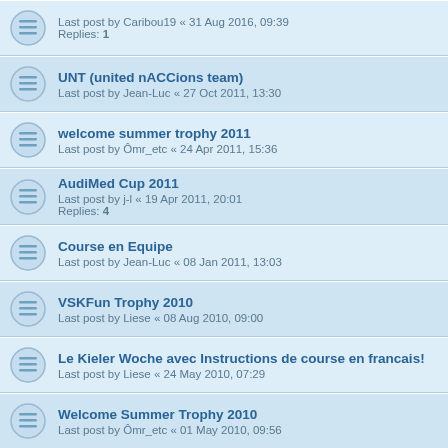Last post by Caribou19 « 31 Aug 2016, 09:39
Replies: 1
UNT (united nACCions team)
Last post by Jean-Luc « 27 Oct 2011, 13:30
welcome summer trophy 2011
Last post by Ômr_etc « 24 Apr 2011, 15:36
AudiMed Cup 2011
Last post by j-l « 19 Apr 2011, 20:01
Replies: 4
Course en Equipe
Last post by Jean-Luc « 08 Jan 2011, 13:03
VSKFun Trophy 2010
Last post by Liese « 08 Aug 2010, 09:00
Le Kieler Woche avec Instructions de course en francais!
Last post by Liese « 24 May 2010, 07:29
Welcome Summer Trophy 2010
Last post by Ômr_etc « 01 May 2010, 09:56
Hi all / sit
Last post by Idefix-59.fr « 06 Mar 2010, 19:39
Replies: 2
Tournoi VSK5 en LAN à Saint Valery en caux
Last post by arawack « 08 Feb 2010, 22:01
Replies: 2
Team VSK challenge 2010